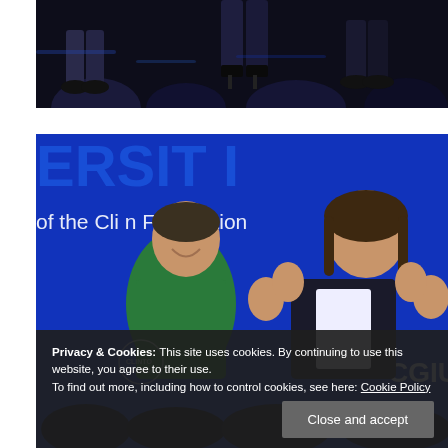[Figure (photo): Dark silhouette photo showing legs/feet on a stage, audience silhouettes visible in background, dark blue tones]
[Figure (photo): Photo of two women on stage at a Clinton Foundation CGI University event. One woman in green jacket laughing, the other in dark blazer with hands raised expressively. Blue backdrop with 'of the Clinton Foundation' and 'CGI U' text visible.]
Privacy & Cookies: This site uses cookies. By continuing to use this website, you agree to their use.
To find out more, including how to control cookies, see here: Cookie Policy
Close and accept